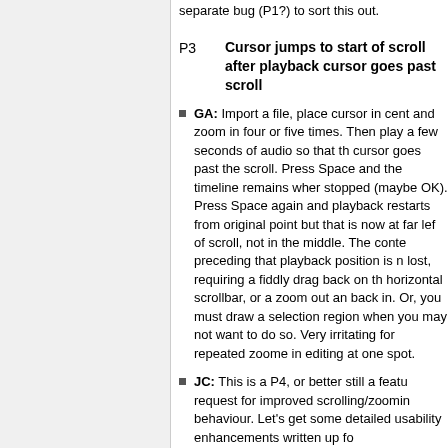separate bug (P1?) to sort this out.
P3  Cursor jumps to start of scroll after playback cursor goes past scroll
GA: Import a file, place cursor in cent and zoom in four or five times. Then play a few seconds of audio so that the cursor goes past the scroll. Press Space and the timeline remains where stopped (maybe OK). Press Space again and playback restarts from original point but that is now at far left of scroll, not in the middle. The context preceding that playback position is not lost, requiring a fiddly drag back on the horizontal scrollbar, or a zoom out and back in. Or, you must draw a selection region when you may not want to do so. Very irritating for repeated zoomed in editing at one spot.
JC: This is a P4, or better still a feature request for improved scrolling/zooming behaviour. Let's get some detailed usability enhancements written up for